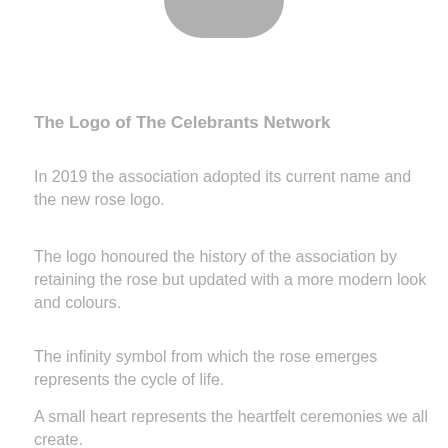[Figure (logo): Partial logo image — bottom portion of a circular grey logo element cropped at the top of the page]
The Logo of The Celebrants Network
In 2019 the association adopted its current name and the new rose logo.
The logo honoured the history of the association by retaining the rose but updated with a more modern look and colours.
The infinity symbol from which the rose emerges represents the cycle of life.
A small heart represents the heartfelt ceremonies we all create.